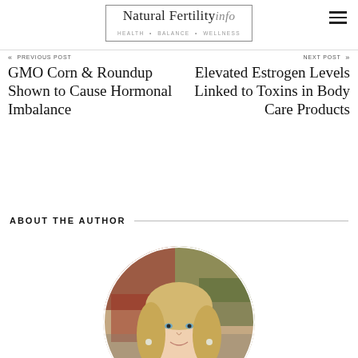Natural Fertility info — HEALTH • BALANCE • WELLNESS
« PREVIOUS POST — GMO Corn & Roundup Shown to Cause Hormonal Imbalance
NEXT POST » — Elevated Estrogen Levels Linked to Toxins in Body Care Products
ABOUT THE AUTHOR
[Figure (photo): Circular portrait photo of a smiling blonde woman outdoors with colorful foliage in the background]